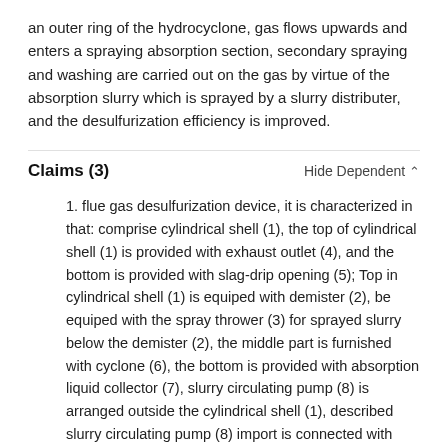an outer ring of the hydrocyclone, gas flows upwards and enters a spraying absorption section, secondary spraying and washing are carried out on the gas by virtue of the absorption slurry which is sprayed by a slurry distributer, and the desulfurization efficiency is improved.
Claims (3)
Hide Dependent ^
1. flue gas desulfurization device, it is characterized in that: comprise cylindrical shell (1), the top of cylindrical shell (1) is provided with exhaust outlet (4), and the bottom is provided with slag-drip opening (5); Top in cylindrical shell (1) is equiped with demister (2), be equiped with the spray thrower (3) for sprayed slurry below the demister (2), the middle part is furnished with cyclone (6), the bottom is provided with absorption liquid collector (7), slurry circulating pump (8) is arranged outside the cylindrical shell (1), described slurry circulating pump (8) import is connected with absorption liquid collector (7) through pipeline, and outlet is connected 10 by loop slurry pipeline (9) with the gas approach pipeline) be connected with cyclone (6).
2. a kind of flue gas desulfurization device according to